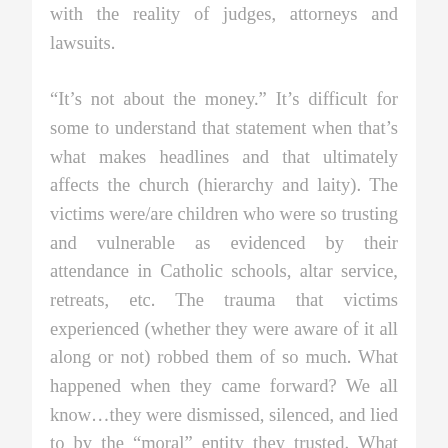with the reality of judges, attorneys and lawsuits.
“It’s not about the money.” It’s difficult for some to understand that statement when that’s what makes headlines and that ultimately affects the church (hierarchy and laity). The victims were/are children who were so trusting and vulnerable as evidenced by their attendance in Catholic schools, altar service, retreats, etc. The trauma that victims experienced (whether they were aware of it all along or not) robbed them of so much. What happened when they came forward? We all know…they were dismissed, silenced, and lied to by the “moral” entity they trusted. What recourse does a victim have? Hope the criminals will do the right thing? The outrage my husband felt when he realized every